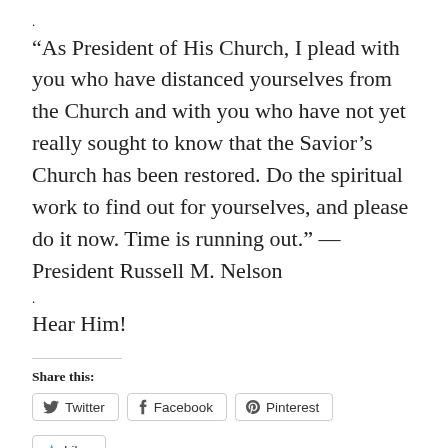.
“As President of His Church, I plead with you who have distanced yourselves from the Church and with you who have not yet really sought to know that the Savior’s Church has been restored. Do the spiritual work to find out for yourselves, and please do it now. Time is running out.” — President Russell M. Nelson
.
Hear Him!
Share this:
Twitter  Facebook  Pinterest
Like
Be the first to like this.